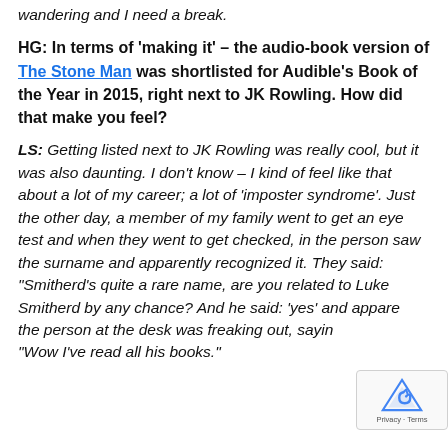wandering and I need a break.
HG: In terms of 'making it' – the audio-book version of The Stone Man was shortlisted for Audible's Book of the Year in 2015, right next to JK Rowling. How did that make you feel?
LS: Getting listed next to JK Rowling was really cool, but it was also daunting. I don't know – I kind of feel like that about a lot of my career; a lot of 'imposter syndrome'. Just the other day, a member of my family went to get an eye test and when they went to get checked, in the person saw the surname and apparently recognized it. They said: "Smitherd's quite a rare name, are you related to Luke Smitherd by any chance? And he said: 'yes' and apparently the person at the desk was freaking out, saying "Wow I've read all his books."